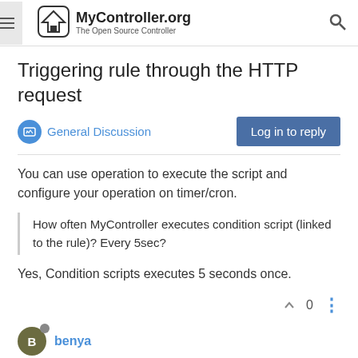MyController.org — The Open Source Controller
Triggering rule through the HTTP request
General Discussion
You can use operation to execute the script and configure your operation on timer/cron.
How often MyController executes condition script (linked to the rule)? Every 5sec?
Yes, Condition scripts executes 5 seconds once.
0
benya
Here is a sample REST API call that modifies MyController